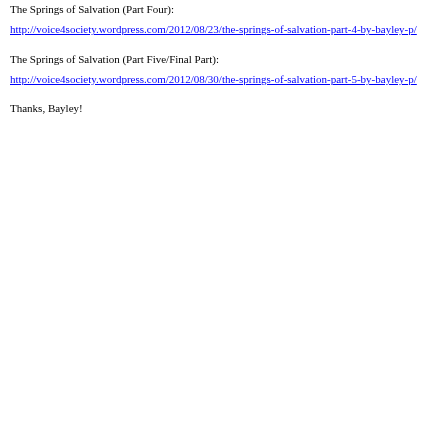The Springs of Salvation (Part Four):
http://voice4society.wordpress.com/2012/08/23/the-springs-of-salvation-part-4-by-bayley-p/
The Springs of Salvation (Part Five/Final Part):
http://voice4society.wordpress.com/2012/08/30/the-springs-of-salvation-part-5-by-bayley-p/
Thanks, Bayley!